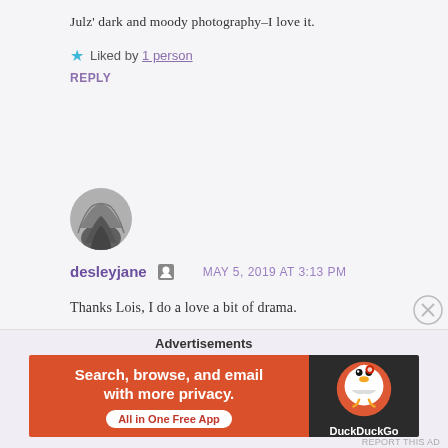Julz' dark and moody photography–I love it.
★ Liked by 1 person
REPLY
[Figure (photo): Circular avatar photo of desleyjane, black and white portrait cropped in circle]
desleyjane 🖂   MAY 5, 2019 AT 3:13 PM
Thanks Lois, I do a love a bit of drama.
★ Like
REPLY
Advertisements
[Figure (infographic): DuckDuckGo advertisement banner: orange left panel with text 'Search, browse, and email with more privacy. All in One Free App' and dark right panel with DuckDuckGo logo duck icon]